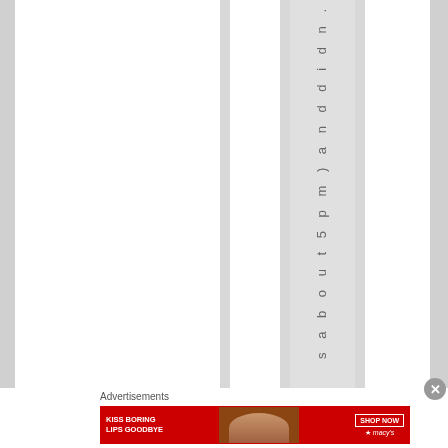[Figure (screenshot): A webpage layout showing vertical columns with alternating white and gray stripes. A narrow column contains vertically-oriented text reading 's a b o u t 5 p m ) a n d d i d n.' in gray letters. Below the columns is an Advertisements section with a Macy's ad banner showing 'KISS BORING LIPS GOODBYE' with a woman's face and 'SHOP NOW' button with Macy's star logo on a red background.]
s a b o u t 5 p m ) a n d d i d n.
Advertisements
[Figure (photo): Macy's advertisement banner: red background with white text 'KISS BORING LIPS GOODBYE', photo of woman's face with red lips, 'SHOP NOW' button outline, and Macy's star logo]